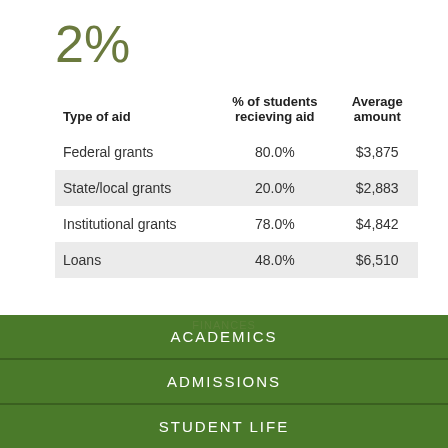2%
| Type of aid | % of students recieving aid | Average amount |
| --- | --- | --- |
| Federal grants | 80.0% | $3,875 |
| State/local grants | 20.0% | $2,883 |
| Institutional grants | 78.0% | $4,842 |
| Loans | 48.0% | $6,510 |
ACADEMICS
ADMISSIONS
STUDENT LIFE